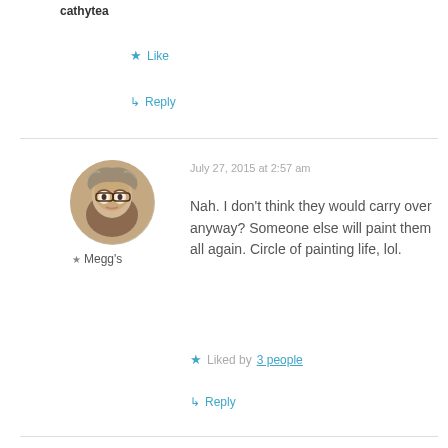cathytea
★ Like
↳ Reply
July 27, 2015 at 2:57 am
[Figure (photo): Circular avatar photo of a woman with glasses and long dark hair with grey highlights]
★ Megg's
Nah. I don't think they would carry over anyway? Someone else will paint them all again. Circle of painting life, lol.
★ Liked by 3 people
↳ Reply